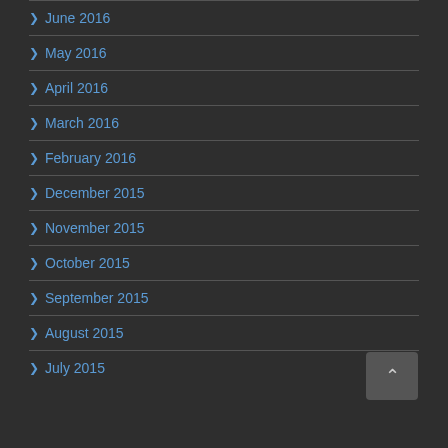June 2016
May 2016
April 2016
March 2016
February 2016
December 2015
November 2015
October 2015
September 2015
August 2015
July 2015